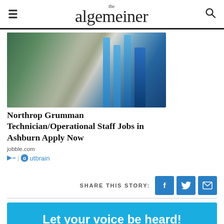the algemeiner
[Figure (photo): A woman wearing a green hijab and safety glasses holding a test tube in a laboratory setting with microscope and blue test tube rack]
Northrop Grumman Technician/Operational Staff Jobs in Ashburn Apply Now
jobble.com
Outbrain
SHARE THIS STORY:
Let your voice be heard!